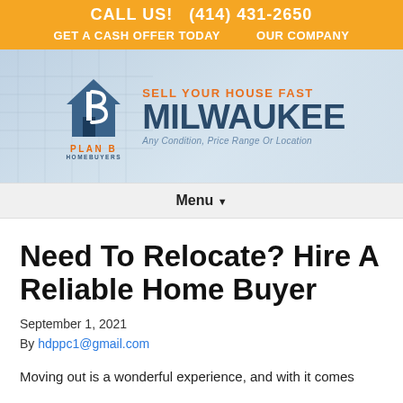CALL US! (414) 431-2650
GET A CASH OFFER TODAY   OUR COMPANY
[Figure (logo): Plan B Homebuyers logo with house icon and text: SELL YOUR HOUSE FAST MILWAUKEE Any Condition, Price Range Or Location]
Menu ▼
Need To Relocate? Hire A Reliable Home Buyer
September 1, 2021
By hdppc1@gmail.com
Moving out is a wonderful experience, and with it comes